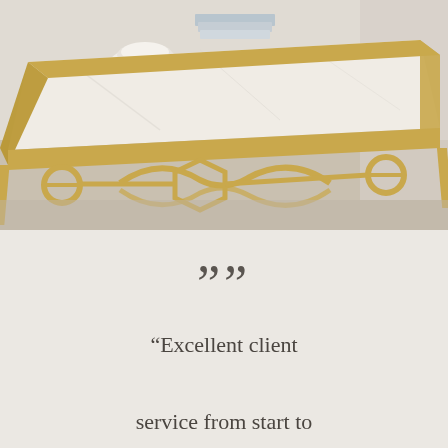[Figure (photo): A gold-framed coffee table with a white marble top, featuring ornate geometric metalwork on the sides including circles and curved shapes. On top of the table sits a white bowl and stacked books. The background shows a light-colored room interior.]
" "Excellent client service from start to